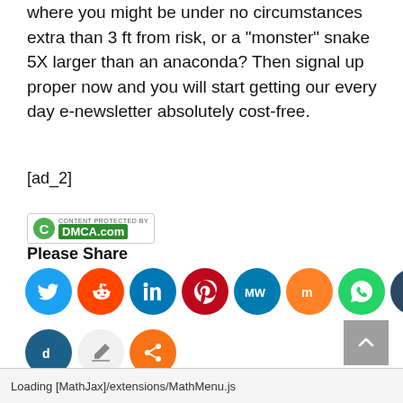where you might be under no circumstances extra than 3 ft from risk, or a “monster” snake 5X larger than an anaconda? Then signal up proper now and you will start getting our every day e-newsletter absolutely cost-free.
[ad_2]
[Figure (logo): DMCA.com copyright protection badge with green C logo]
Please Share
[Figure (infographic): Social share icons: Twitter, Reddit, LinkedIn, Pinterest, MeWe, Mix, WhatsApp, Tumblr, Blogger, Digg, Edit, Share]
Loading [MathJax]/extensions/MathMenu.js